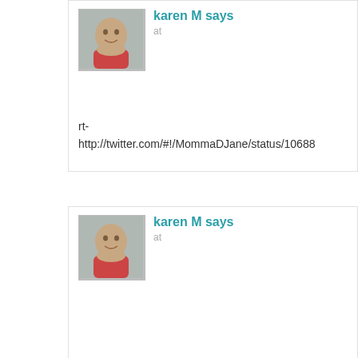karen M says
at
rt-
http://twitter.com/#!/MommaDJane/status/10688
karen M says
at
rt-
http://twitter.com/#!/gummasplace/status/10639